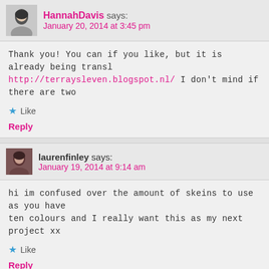HannahDavis says: January 20, 2014 at 3:45 pm
Thank you! You can if you like, but it is already being transl… http://terraysleven.blogspot.nl/ I don't mind if there are two…
★ Like
Reply
laurenfinley says: January 19, 2014 at 9:14 am
hi im confused over the amount of skeins to use as you have ten colours and I really want this as my next project xx
★ Like
Reply
[Figure (screenshot): Advertisement banner for WordPress app: 'Create immersive stories.' with GET THE APP button and WordPress logo]